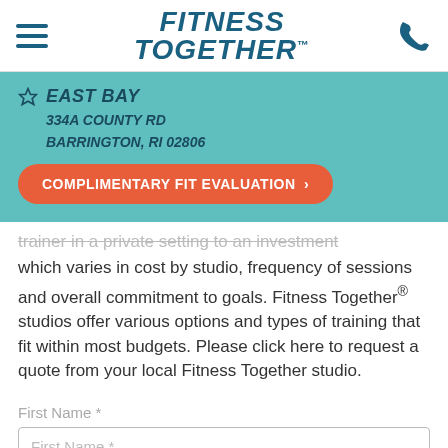[Figure (logo): Fitness Together logo with hamburger menu icon on the left and phone icon on the right]
☆ EAST BAY
334A COUNTY RD
BARRINGTON, RI 02806
COMPLIMENTARY FIT EVALUATION >
trainer in a private setting to an investment which varies in cost by studio, frequency of sessions and overall commitment to goals. Fitness Together® studios offer various options and types of training that fit within most budgets. Please click here to request a quote from your local Fitness Together studio.
First Name *
First Name *